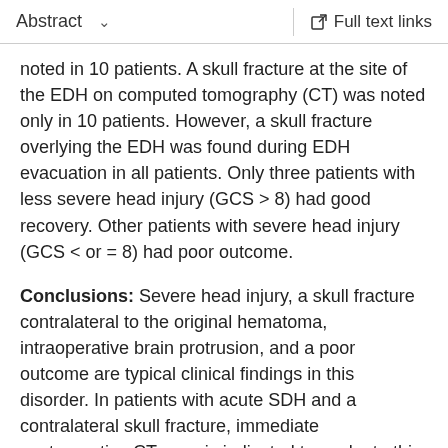Abstract   ∨   Full text links
noted in 10 patients. A skull fracture at the site of the EDH on computed tomography (CT) was noted only in 10 patients. However, a skull fracture overlying the EDH was found during EDH evacuation in all patients. Only three patients with less severe head injury (GCS > 8) had good recovery. Other patients with severe head injury (GCS < or = 8) had poor outcome.
Conclusions: Severe head injury, a skull fracture contralateral to the original hematoma, intraoperative brain protrusion, and a poor outcome are typical clinical findings in this disorder. In patients with acute SDH and a contralateral skull fracture, immediate postoperative CT scan is indicated to evaluate this rare but potentially lethal complication. According to the findings of the postoperative CT scan, the neurosurgeon can make an appropriate strategy of treatment promptly. Early detection and prompt treatment may improve the poor